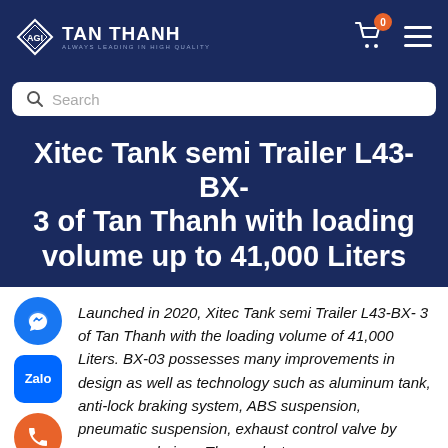TAN THANH - ALWAYS LEADING IN HIGH QUALITY
Xitec Tank semi Trailer L43-BX-3 of Tan Thanh with loading volume up to 41,000 Liters
Launched in 2020, Xitec Tank semi Trailer L43-BX- 3 of Tan Thanh with the loading volume of 41,000 Liters. BX-03 possesses many improvements in design as well as technology such as aluminum tank, anti-lock braking system, ABS suspension, pneumatic suspension, exhaust control valve by compressed air, ... The product